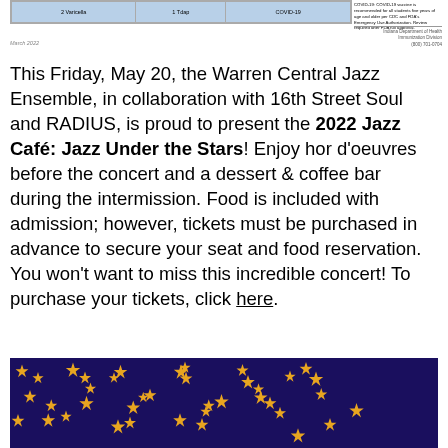Table strip header with vaccination data (partial view)
This Friday, May 20, the Warren Central Jazz Ensemble, in collaboration with 16th Street Soul and RADIUS, is proud to present the 2022 Jazz Café: Jazz Under the Stars! Enjoy hor d'oeuvres before the concert and a dessert & coffee bar during the intermission. Food is included with admission; however, tickets must be purchased in advance to secure your seat and food reservation. You won't want to miss this incredible concert! To purchase your tickets, click here.
[Figure (photo): Dark navy blue background with scattered golden star pattern, decorative image for Jazz Under the Stars event.]